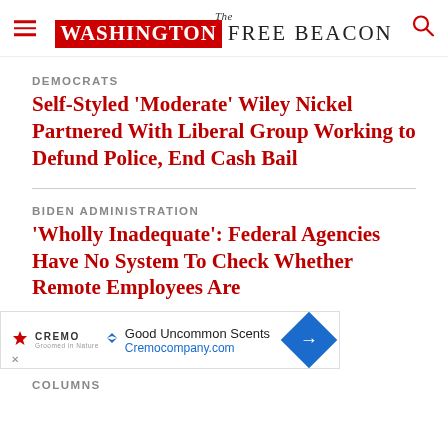The Washington Free Beacon
DEMOCRATS
Self-Styled ‘Moderate’ Wiley Nickel Partnered With Liberal Group Working to Defund Police, End Cash Bail
BIDEN ADMINISTRATION
‘Wholly Inadequate’: Federal Agencies Have No System To Check Whether Remote Employees Are
[Figure (other): Advertisement banner for Cremo company with logo, text 'Good Uncommon Scents' and 'Cremocompany.com', blue diamond arrow icon]
COLUMNS